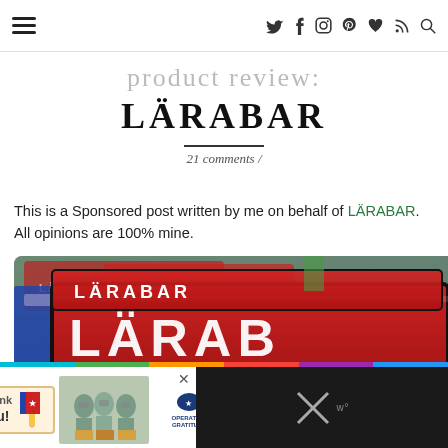Navigation header with hamburger menu and social icons (Twitter, Facebook, Instagram, Pinterest, heart, RSS, search)
product review:
LÄRABAR
21 comments /
This is a Sponsored post written by me on behalf of LÄRABAR. All opinions are 100% mine.
[Figure (photo): Close-up photo of stacked red LÄRABAR energy bar packages with the LÄRABAR logo visible on the packaging]
[Figure (photo): Operation Gratitude thank you advertisement banner showing healthcare workers holding packages]